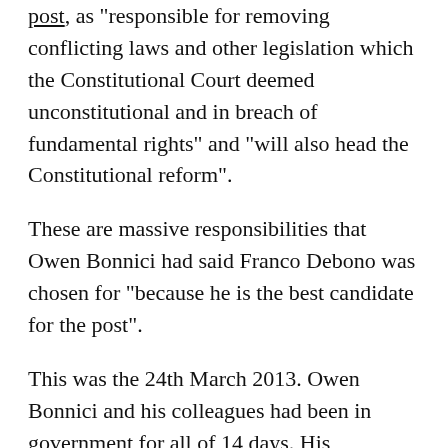post, as "responsible for removing conflicting laws and other legislation which the Constitutional Court deemed unconstitutional and in breach of fundamental rights" and "will also head the Constitutional reform".
These are massive responsibilities that Owen Bonnici had said Franco Debono was chosen for "because he is the best candidate for the post".
This was the 24th March 2013. Owen Bonnici and his colleagues had been in government for all of 14 days. His appointment was, according to them, not at all meant to spite the new Nationalist Opposition still headed by Lawrence Gonzi who had barely started to feel the relief after 5 years of being undermined by Franco Debono, the rebel MP sitting on...